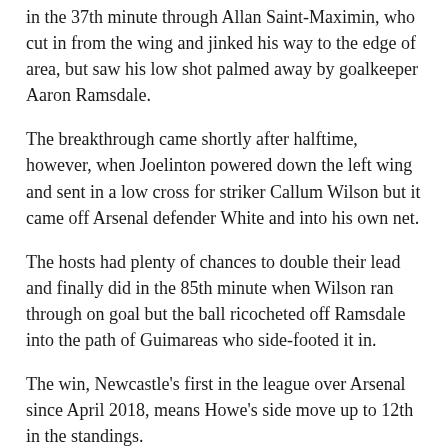in the 37th minute through Allan Saint-Maximin, who cut in from the wing and jinked his way to the edge of area, but saw his low shot palmed away by goalkeeper Aaron Ramsdale.
The breakthrough came shortly after halftime, however, when Joelinton powered down the left wing and sent in a low cross for striker Callum Wilson but it came off Arsenal defender White and into his own net.
The hosts had plenty of chances to double their lead and finally did in the 85th minute when Wilson ran through on goal but the ball ricocheted off Ramsdale into the path of Guimareas who side-footed it in.
The win, Newcastle's first in the league over Arsenal since April 2018, means Howe's side move up to 12th in the standings.
Published in Dawn, May 18th, 2022